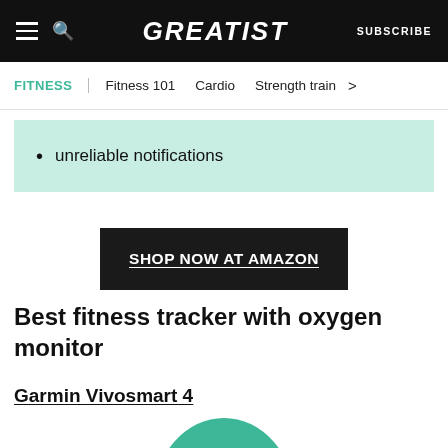GREATIST | SUBSCRIBE
FITNESS | Fitness 101 | Cardio | Strength train >
unreliable notifications
SHOP NOW AT AMAZON
Best fitness tracker with oxygen monitor
Garmin Vivosmart 4